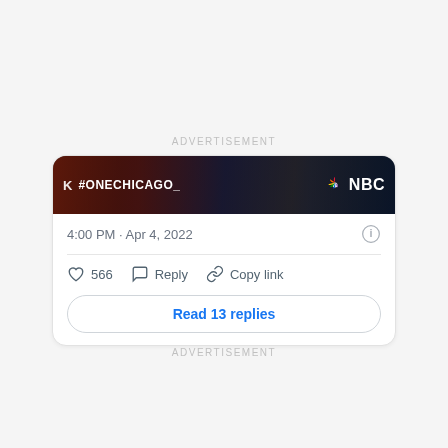ADVERTISEMENT
[Figure (screenshot): NBC #OneChicago advertisement banner — dark cityscape background with #ONECHICAGO_ text on left and NBC peacock logo with NBC text on right]
4:00 PM · Apr 4, 2022
566  Reply  Copy link
Read 13 replies
ADVERTISEMENT